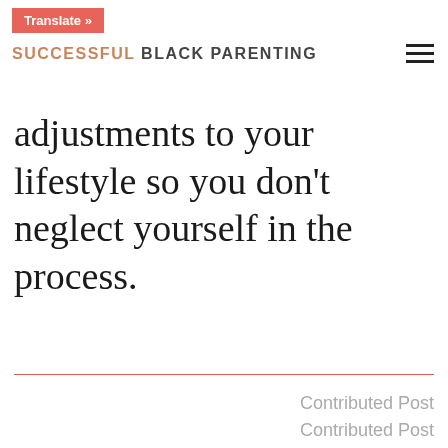Translate » SUCCESSFUL BLACK PARENTING
adjustments to your lifestyle so you don't neglect yourself in the process.
Contributed Post
Contributed Post